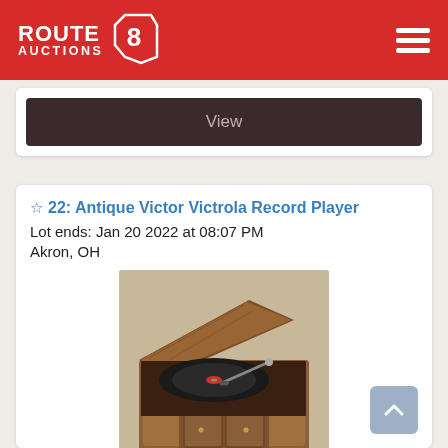ROUTE AUCTIONS 8
View
22: Antique Victor Victrola Record Player
Lot ends: Jan 20 2022 at 08:07 PM
Akron, OH
[Figure (photo): Antique Victor Victrola record player with open lid, wooden cabinet with two small doors at the bottom, photographed on a light surface.]